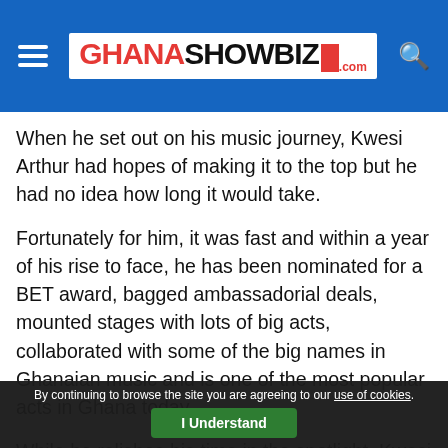GHANASHOWBIZ.com
When he set out on his music journey, Kwesi Arthur had hopes of making it to the top but he had no idea how long it would take.
Fortunately for him, it was fast and within a year of his rise to face, he has been nominated for a BET award, bagged ambassadorial deals, mounted stages with lots of big acts, collaborated with some of the big names in Ghanaian music and is one of the most popular acts in Ghana today.
While he relishes his time in the spotlight, Kwesi Arthur recognises the fact that it has not been an easy journey and has expressed gratitude for where
By continuing to browse the site you are agreeing to our use of cookies. I Understand